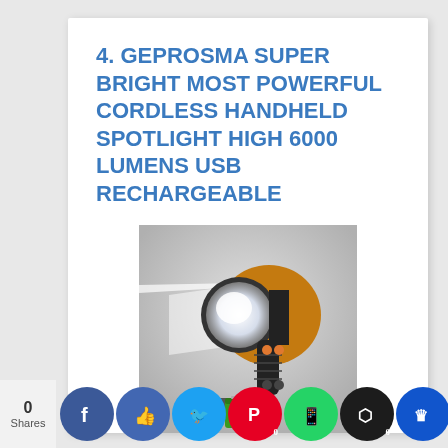4. GEPROSMA SUPER BRIGHT MOST POWERFUL CORDLESS HANDHELD SPOTLIGHT HIGH 6000 LUMENS USB RECHARGEABLE
[Figure (photo): Handheld spotlight/flashlight product photo showing a black and gold/orange cordless spotlight with USB cable and green batteries below it]
2020 Most Powerful Multifunctions High
ntory Le